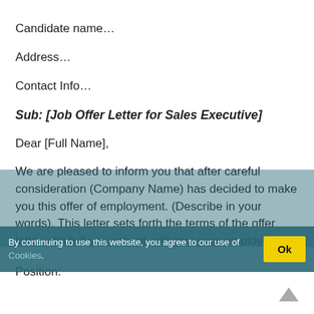Candidate name…
Address…
Contact Info…
Sub: [Job Offer Letter for Sales Executive]
Dear [Full Name],
We are pleased to inform you that after careful consideration (Company Name) has decided to make you this offer of employment. (Describe in your words). This letter sets forth the terms of the offer letter which if you accept, will give your employees.
Position: